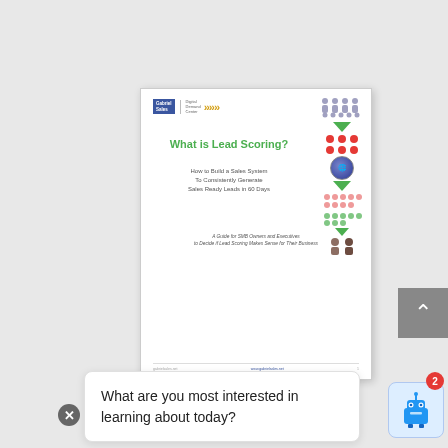[Figure (screenshot): Document cover page thumbnail showing 'What is Lead Scoring?' guide with Gabriel Sales logo and funnel infographic]
What is Lead Scoring?
How to Build a Sales System To Consistently Generate Sales Ready Leads in 60 Days
A Guide for SMB Owners and Executives to Decide if Lead Scoring Makes Sense for Their Business
What are you most interested in learning about today?